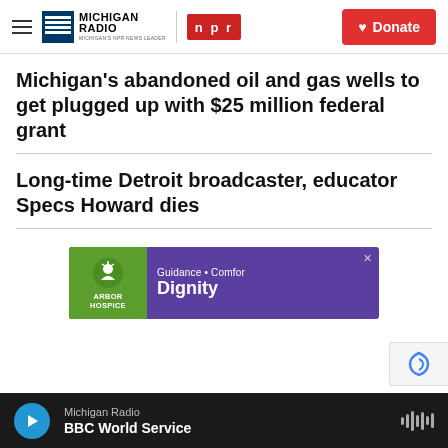Michigan Radio | NPR | Donate
Michigan's abandoned oil and gas wells to get plugged up with $25 million federal grant
Long-time Detroit broadcaster, educator Specs Howard dies
[Figure (advertisement): Arbor Hospice advertisement: Guidance • Comfort • Dignity, purple banner with green logo]
Michigan Radio | BBC World Service